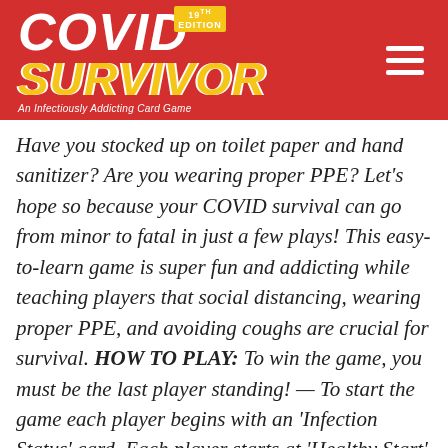[Figure (logo): COVID SURVIVOR card game logo on red background with '19th Edition' badge in yellow, subtitle 'An Infectiously Addicting Card Game', and a hamburger menu icon on the right]
Have you stocked up on toilet paper and hand sanitizer? Are you wearing proper PPE? Let's hope so because your COVID survival can go from minor to fatal in just a few plays! This easy-to-learn game is super fun and addicting while teaching players that social distancing, wearing proper PPE, and avoiding coughs are crucial for survival. HOW TO PLAY: To win the game, you must be the last player standing! — To start the game each player begins with an 'Infection Status' card. Each player starts at 'Healthy Start' on the card using the provided virus shaped token. As the player continues through the game, this token will be moved up or down depending on how the game is played. On each turn, the player must roll the dice and